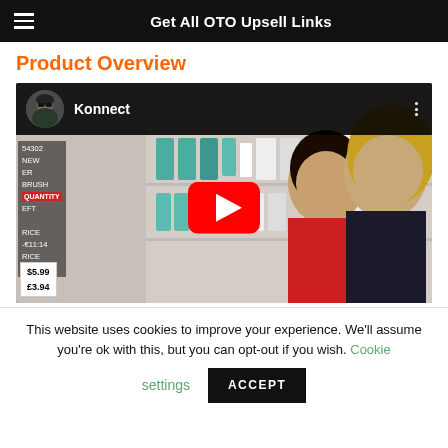Get All OTO Upsell Links
Product Overview
[Figure (screenshot): YouTube video thumbnail showing two women in a cosmetics/beauty store. The video is titled 'Konnect' with a channel avatar of a man wearing sunglasses. A large red YouTube play button is centered on the video. Store shelf labels show product details including quantity, price ($5.99 / £3.94).]
This website uses cookies to improve your experience. We'll assume you're ok with this, but you can opt-out if you wish. Cookie settings ACCEPT